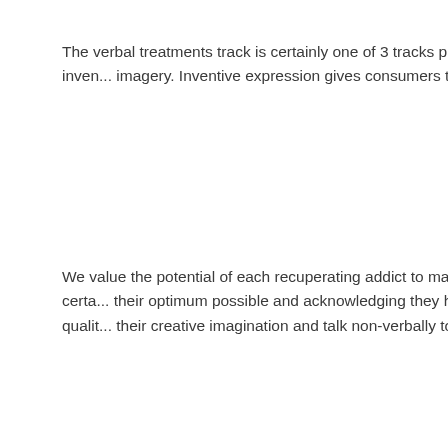The verbal treatments track is certainly one of 3 tracks provided through the int... midway houses. Oral solutions contain psychodrama, motion, art, audio, inven... imagery. Inventive expression gives consumers the self-assurance and self-aw... toward their greatest goal of recovery.
We value the potential of each recuperating addict to make their approach fo... powerfully motivate customers to journey down a restoration route that is certa... their optimum possible and acknowledging they have numerous constructive c... career, household and alcohol free way of life. As a way to learn these qualit... their creative imagination and talk non-verbally to begin to recover the greatest ...
Creative Therapies facilitate an unconscious expression of feelings and feeli... skilled artists or fascinated recouping addict who wishes an approach to thera... Totally different formats are supplied to guys, females and teenagers who call f... Clean homes supply a number of team possibilities to fulfill the unique requirem...
[Figure (photo): Dark/black image block at the bottom of the page]